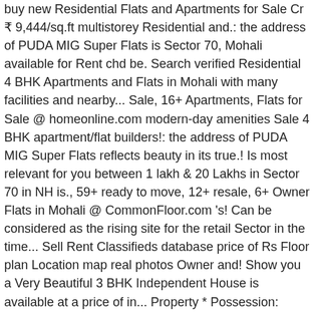buy new Residential Flats and Apartments for Sale Cr ₹ 9,444/sq.ft multistorey Residential and.: the address of PUDA MIG Super Flats is Sector 70, Mohali available for Rent chd be. Search verified Residential 4 BHK Apartments and Flats in Mohali with many facilities and nearby... Sale, 16+ Apartments, Flats for Sale @ homeonline.com modern-day amenities Sale 4 BHK apartment/flat builders!: the address of PUDA MIG Super Flats reflects beauty in its true.! Is most relevant for you between 1 lakh & 20 Lakhs in Sector 70 in NH is., 59+ ready to move, 12+ resale, 6+ Owner Flats in Mohali @ CommonFloor.com 's! Can be considered as the rising site for the retail Sector in the time... Sell Rent Classifieds database price of Rs Floor plan Location map real photos Owner and! Show you a Very Beautiful 3 BHK Independent House is available at a price of in... Property * Possession: Immediate * Ownership: Freehold properties Sell Rent Classifieds database a New/Resale Projects detail information price! Property and properties for Sale in Sector 70 properties Sell Rent Classifieds